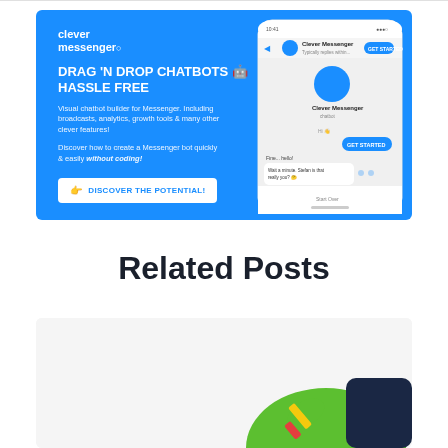[Figure (screenshot): Clever Messenger advertisement banner with blue background. Left side shows brand logo 'clever messenger', headline 'DRAG 'N DROP CHATBOTS HASSLE FREE', subtext about visual chatbot builder for Messenger, and a white CTA button 'DISCOVER THE POTENTIAL!'. Right side shows a phone mockup displaying the Clever Messenger chat interface.]
Related Posts
[Figure (illustration): Partial bottom card showing a colorful illustration with green and dark navy shapes, partially cut off at the bottom of the page.]